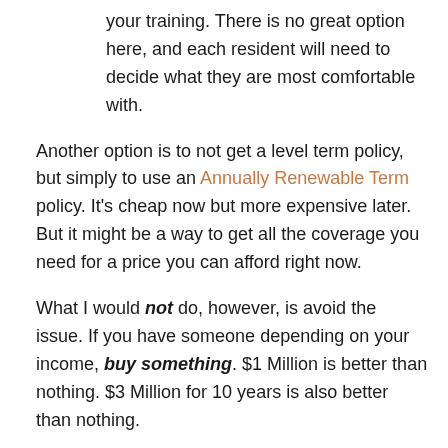your training. There is no great option here, and each resident will need to decide what they are most comfortable with.
Another option is to not get a level term policy, but simply to use an Annually Renewable Term policy. It's cheap now but more expensive later. But it might be a way to get all the coverage you need for a price you can afford right now.
What I would not do, however, is avoid the issue. If you have someone depending on your income, buy something. $1 Million is better than nothing. $3 Million for 10 years is also better than nothing.